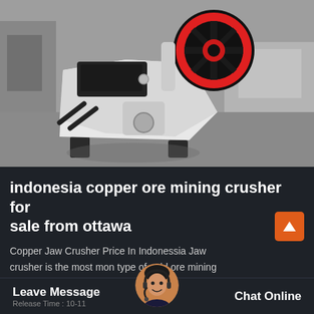[Figure (photo): Industrial jaw crusher machine, white and black colored, with a large red flywheel on top right, sitting on a factory floor. The machine has a hopper at the top and heavy-duty base supports. Industrial factory background visible.]
indonesia copper ore mining crusher for sale from ottawa
Copper Jaw Crusher Price In Indonessia Jaw crusher is the most mon type of gold ore mining crushing equipment ja... er can reach four to...
Leave Message  Chat Online  Release Time : 10-11